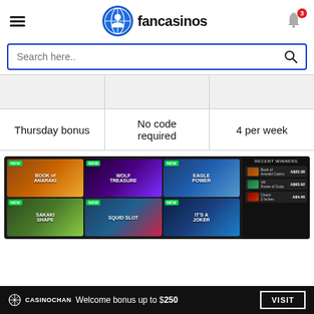[Figure (screenshot): Fancasinos website header with hamburger menu, logo, and notification bell with badge showing 3]
[Figure (screenshot): Search bar with blue border and search icon, placeholder text 'Search here..']
|  |  |  |
| --- | --- | --- |
| Thursday bonus | No code required | 4 per week |
[Figure (screenshot): Casino games section on dark background showing 6 game thumbnails (Book of Anaraki, Wolf Treasure, Eagle Power, Sakaki Shape, Squid Slot, It's a Joker) with Recent Winners panel on right]
[Figure (screenshot): Bottom banner: CasinoChan logo, text 'Welcome bonus up to $250', VISIT button]